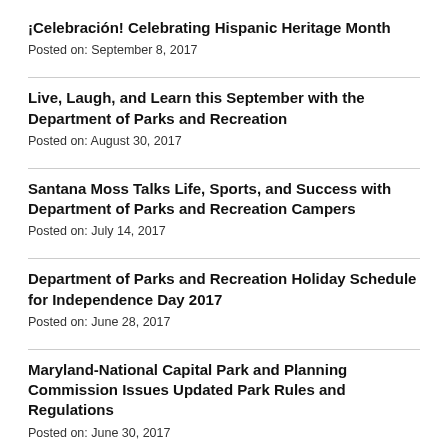¡Celebración! Celebrating Hispanic Heritage Month
Posted on: September 8, 2017
Live, Laugh, and Learn this September with the Department of Parks and Recreation
Posted on: August 30, 2017
Santana Moss Talks Life, Sports, and Success with Department of Parks and Recreation Campers
Posted on: July 14, 2017
Department of Parks and Recreation Holiday Schedule for Independence Day 2017
Posted on: June 28, 2017
Maryland-National Capital Park and Planning Commission Issues Updated Park Rules and Regulations
Posted on: June 30, 2017
Durant Gives Back to the Department of Parks and Recreation